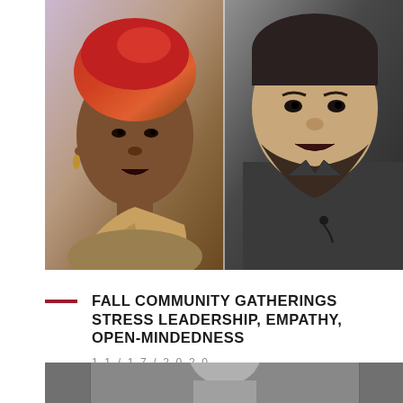[Figure (photo): Two photos side by side: left shows a Black woman wearing a colorful head wrap and ruffled necklace/top; right shows a bearded white man wearing a dark shirt with a lapel microphone.]
FALL COMMUNITY GATHERINGS STRESS LEADERSHIP, EMPATHY, OPEN-MINDEDNESS
11/17/2020
[Figure (photo): Black and white photo partially visible at bottom of page, showing a person.]